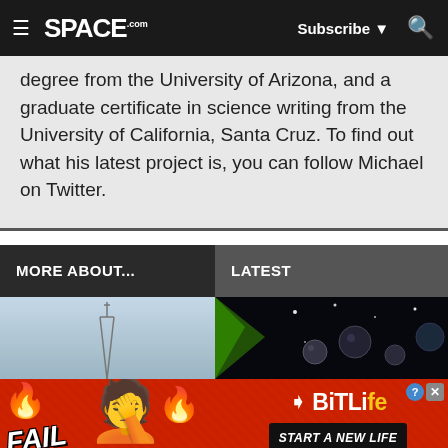SPACE.com — Subscribe — Search
degree from the University of Arizona, and a graduate certificate in science writing from the University of California, Santa Cruz. To find out what his latest project is, you can follow Michael on Twitter.
MORE ABOUT...
LATEST
[Figure (photo): Partial photo showing sky/antenna on left, space illustration with green beam and spheres on right]
[Figure (photo): Advertisement banner for BitLife game showing FAIL text, cartoon character, fire emoji, sperm logo, BitLife text, and START A NEW LIFE button]